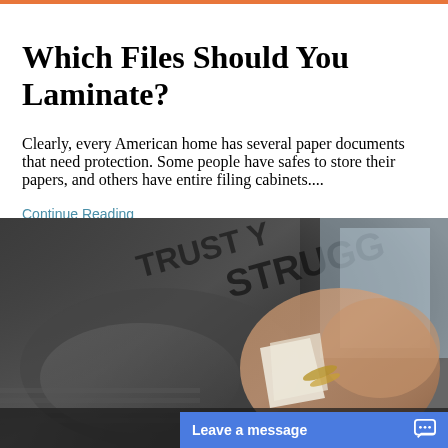Which Files Should You Laminate?
Clearly, every American home has several paper documents that need protection. Some people have safes to store their papers, and others have entire filing cabinets....
Continue Reading
[Figure (photo): A person handling documents or papers, with dark bags/luggage in the background. A 'Blog' tag overlay is shown in the upper left of the image. A 'Leave a message' chat button bar appears at the bottom right.]